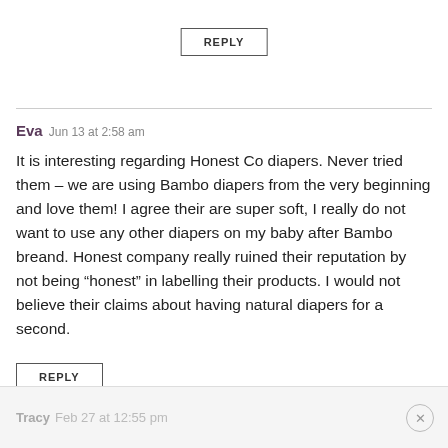REPLY
Eva Jun 13 at 2:58 am
It is interesting regarding Honest Co diapers. Never tried them – we are using Bambo diapers from the very beginning and love them! I agree their are super soft, I really do not want to use any other diapers on my baby after Bambo breand. Honest company really ruined their reputation by not being “honest” in labelling their products. I would not believe their claims about having natural diapers for a second.
REPLY
Tracy Feb 27 at 12:55 pm